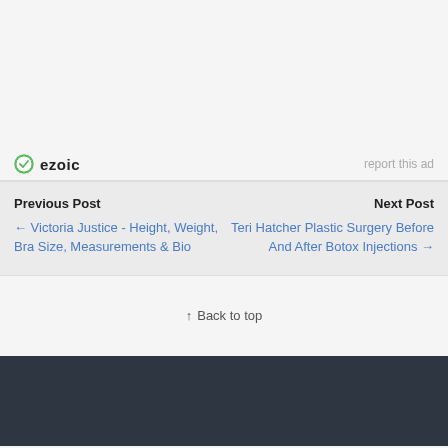[Figure (logo): Ezoic logo with green circular checkmark icon and bold text 'ezoic']
report this ad
Previous Post
Next Post
← Victoria Justice - Height, Weight, Bra Size, Measurements & Bio
Teri Hatcher Plastic Surgery Before And After Botox Injections →
↑ Back to top